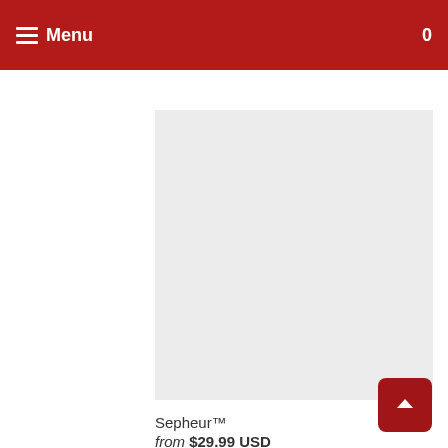≡ Menu  🛒 0
Saves™
from $19.99 USD
[Figure (photo): Product image placeholder – light grey square background]
Sepheur™
from $29.99 USD